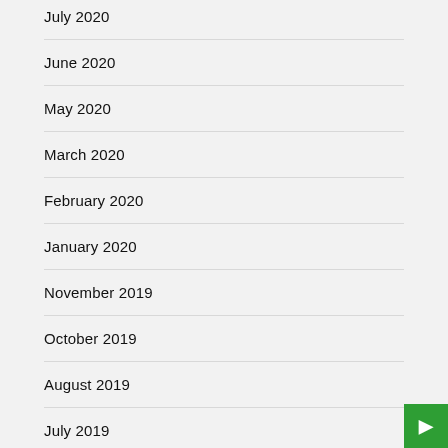July 2020
June 2020
May 2020
March 2020
February 2020
January 2020
November 2019
October 2019
August 2019
July 2019